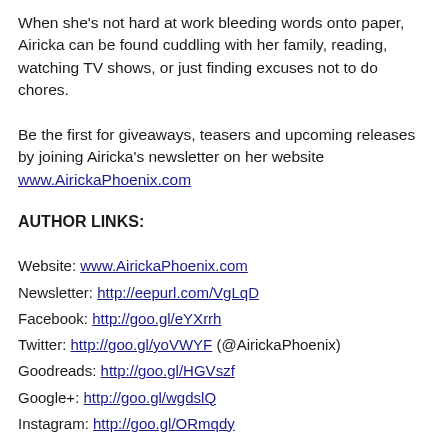When she's not hard at work bleeding words onto paper, Airicka can be found cuddling with her family, reading, watching TV shows, or just finding excuses not to do chores.
Be the first for giveaways, teasers and upcoming releases by joining Airicka's newsletter on her website www.AirickaPhoenix.com
AUTHOR LINKS:
Website: www.AirickaPhoenix.com
Newsletter: http://eepurl.com/VgLqD
Facebook: http://goo.gl/eYXrrh
Twitter: http://goo.gl/yoVWYF (@AirickaPhoenix)
Goodreads: http://goo.gl/HGVszf
Google+: http://goo.gl/wgdslQ
Instagram: http://goo.gl/ORmqdy